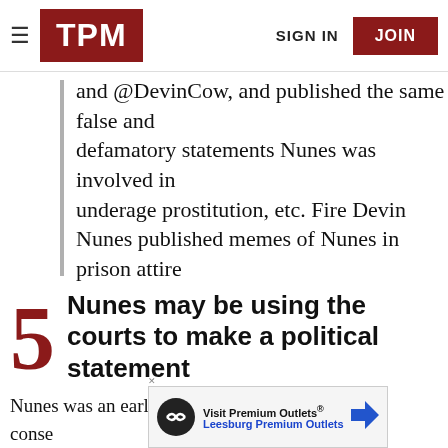TPM | SIGN IN | JOIN
and @DevinCow, and published the same false and defamatory statements Nunes was involved in underage prostitution, etc. Fire Devin Nunes published memes of Nunes in prison attire
5 Nunes may be using the courts to make a political statement
Nunes was an early perpetuator of the conser... es, like Th...